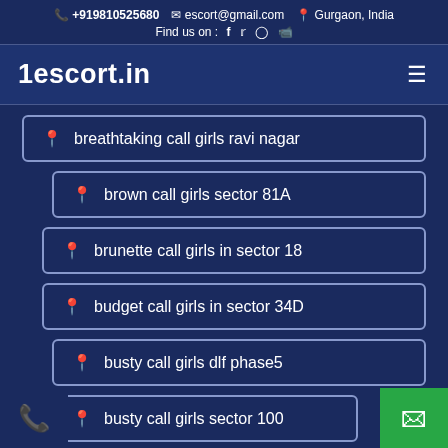+919810525680  escort@gmail.com  Gurgaon, India  Find us on : f  twitter  instagram  youtube
1escort.in
breathtaking call girls ravi nagar
brown call girls sector 81A
brunette call girls in sector 18
budget call girls in sector 34D
busty call girls dlf phase5
busty call girls sector 100